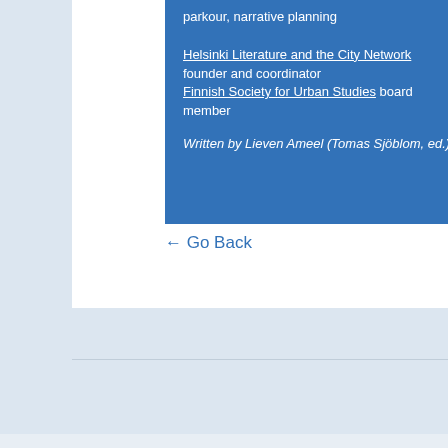parkour, narrative planning

Helsinki Literature and the City Network founder and coordinator Finnish Society for Urban Studies board member

Written by Lieven Ameel (Tomas Sjöblom, ed.)
← Go Back